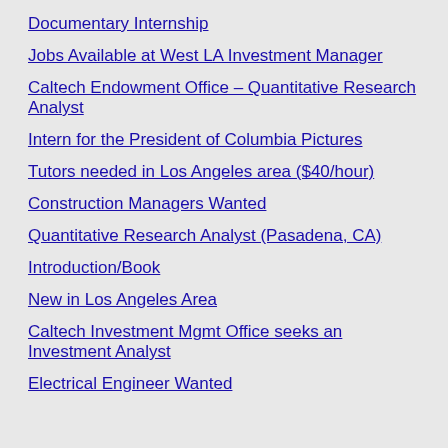Documentary Internship
Jobs Available at West LA Investment Manager
Caltech Endowment Office – Quantitative Research Analyst
Intern for the President of Columbia Pictures
Tutors needed in Los Angeles area ($40/hour)
Construction Managers Wanted
Quantitative Research Analyst (Pasadena, CA)
Introduction/Book
New in Los Angeles Area
Caltech Investment Mgmt Office seeks an Investment Analyst
Electrical Engineer Wanted